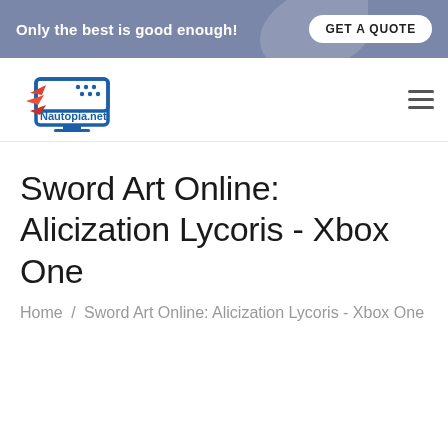Only the best is good enough! GET A QUOTE
[Figure (logo): Nautopia.net logo with monitor icon and red arrow shapes]
Sword Art Online: Alicization Lycoris - Xbox One
Home / Sword Art Online: Alicization Lycoris - Xbox One